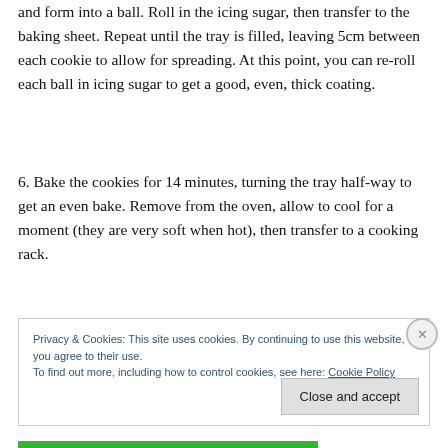5. Take generous teaspoons of the mixture (around 25g) and form into a ball. Roll in the icing sugar, then transfer to the baking sheet. Repeat until the tray is filled, leaving 5cm between each cookie to allow for spreading. At this point, you can re-roll each ball in icing sugar to get a good, even, thick coating.
6. Bake the cookies for 14 minutes, turning the tray half-way to get an even bake. Remove from the oven, allow to cool for a moment (they are very soft when hot), then transfer to a cooking rack.
Privacy & Cookies: This site uses cookies. By continuing to use this website, you agree to their use. To find out more, including how to control cookies, see here: Cookie Policy
Close and accept